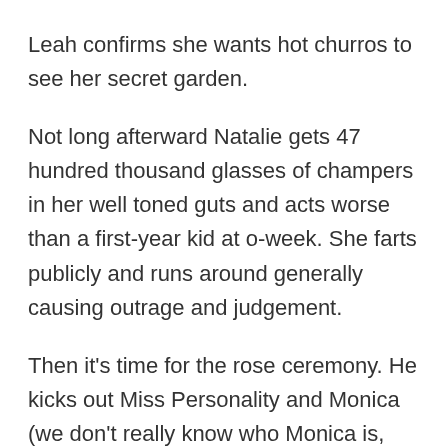Leah confirms she wants hot churros to see her secret garden.
Not long afterward Natalie gets 47 hundred thousand glasses of champers in her well toned guts and acts worse than a first-year kid at o-week. She farts publicly and runs around generally causing outrage and judgement.
Then it's time for the rose ceremony. He kicks out Miss Personality and Monica (we don't really know who Monica is, but obvs there was zero interest from MattyJ).
THE GOOD: we like Michelle and Lisa, they appear to